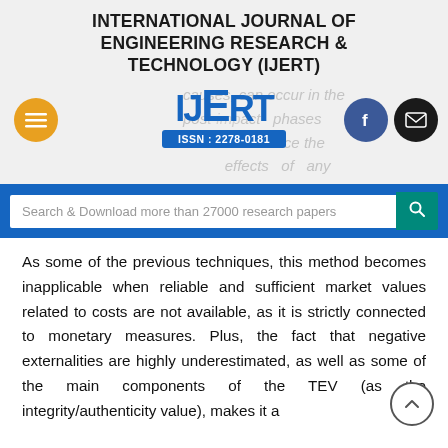INTERNATIONAL JOURNAL OF ENGINEERING RESEARCH & TECHNOLOGY (IJERT)
[Figure (logo): IJERT logo with ISSN: 2278-0181, hamburger menu button (orange), Facebook and mail social icons. Faded background text reads: causes, can occur in the post-impact phases... reduce the... effects of any]
Search & Download more than 27000 research papers
As some of the previous techniques, this method becomes inapplicable when reliable and sufficient market values related to costs are not available, as it is strictly connected to monetary measures. Plus, the fact that negative externalities are highly underestimated, as well as some of the main components of the TEV (as the integrity/authenticity value), makes it a